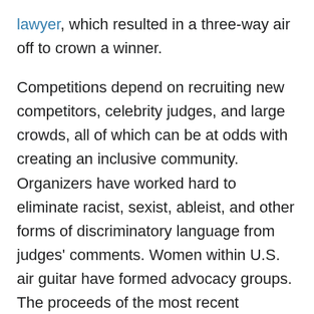lawyer, which resulted in a three-way air off to crown a winner.
Competitions depend on recruiting new competitors, celebrity judges, and large crowds, all of which can be at odds with creating an inclusive community. Organizers have worked hard to eliminate racist, sexist, ableist, and other forms of discriminatory language from judges' comments. Women within U.S. air guitar have formed advocacy groups. The proceeds of the most recent competitions have been donated to Alabama Appleseed Center for Law and Justice, which took up the case of a disabled Black veteran named Sean Worsley who was incarcerated for playing air guitar to music at a gas station. Both organizing bodies at the national and international level emphasize world peace as central to their mission.